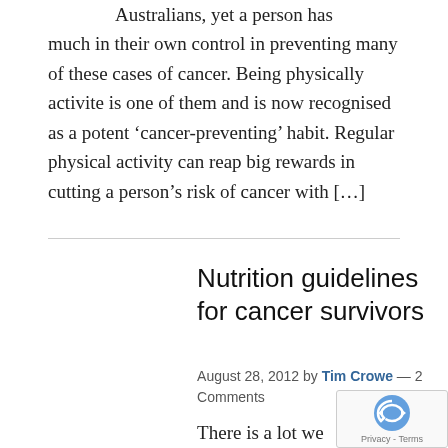Australians, yet a person has much in their own control in preventing many of these cases of cancer. Being physically activite is one of them and is now recognised as a potent 'cancer-preventing' habit. Regular physical activity can reap big rewards in cutting a person's risk of cancer with [...]
Nutrition guidelines for cancer survivors
August 28, 2012 by Tim Crowe — 2 Comments
There is a lot we know abo... best food and lifestyle cho...